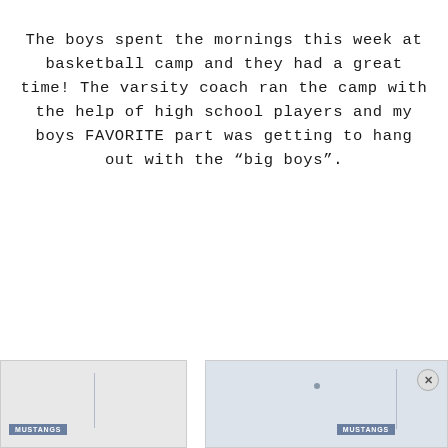The boys spent the mornings this week at basketball camp and they had a great time!  The varsity coach ran the camp with the help of high school players and my boys FAVORITE part was getting to hang out with the "big boys".
[Figure (photo): Two partially visible photos at the bottom of the page. Left photo shows a light-colored scene with a dark blue label bar reading 'MUSTANGS'. Right photo shows a similar scene with a label bar reading 'MUSTANGS' and a close/X button in the top right corner.]